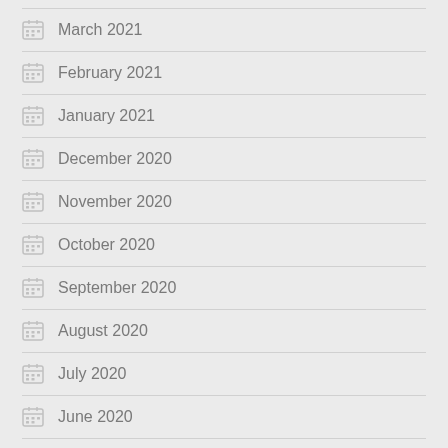March 2021
February 2021
January 2021
December 2020
November 2020
October 2020
September 2020
August 2020
July 2020
June 2020
May 2020